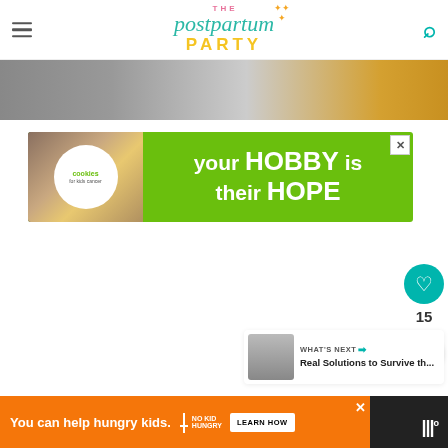The Postpartum Party
[Figure (photo): Partial hero image strip showing blurred background scene with gray and orange tones]
[Figure (screenshot): Advertisement banner: Cookies for Kids Cancer - your HOBBY is their HOPE]
[Figure (infographic): Like/favorite button (teal heart icon) with count 15 and share button]
[Figure (screenshot): What's Next promotional widget: Real Solutions to Survive th...]
[Figure (screenshot): Bottom advertisement bar: You can help hungry kids. No Kid Hungry. LEARN HOW.]